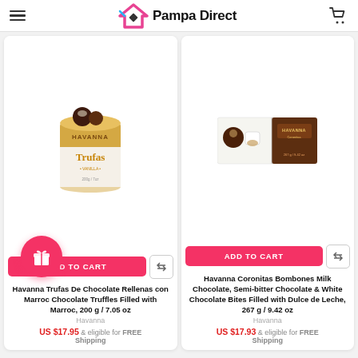Pampa Direct
[Figure (photo): Havanna Trufas De Chocolate – gold cylindrical tin with chocolate truffles shown on front]
ADD TO CART
Havanna Trufas De Chocolate Rellenas con Marroc Chocolate Truffles Filled with Marroc, 200 g / 7.05 oz
Havanna
US $17.95 & eligible for FREE Shipping
[Figure (photo): Havanna Coronitas Bombones – white and dark brown rectangular box of chocolate bites]
ADD TO CART
Havanna Coronitas Bombones Milk Chocolate, Semi-bitter Chocolate & White Chocolate Bites Filled with Dulce de Leche, 267 g / 9.42 oz
Havanna
US $17.93 & eligible for FREE Shipping